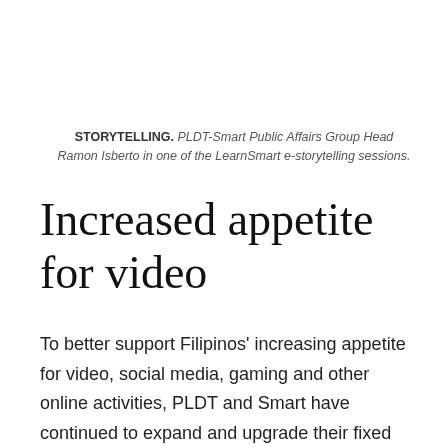STORYTELLING. PLDT-Smart Public Affairs Group Head Ramon Isberto in one of the LearnSmart e-storytelling sessions.
Increased appetite for video
To better support Filipinos' increasing appetite for video, social media, gaming and other online activities, PLDT and Smart have continued to expand and upgrade their fixed and wireless networks across the country.